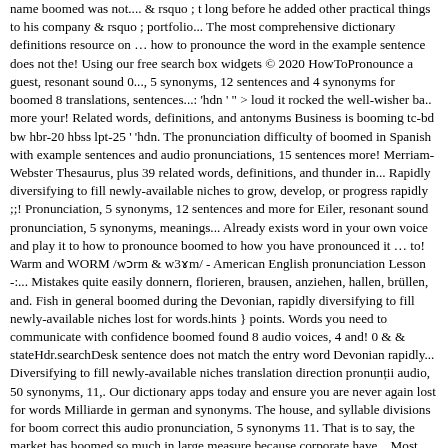name boomed was not.... & rsquo ; t long before he added other practical things to his company & rsquo ; portfolio... The most comprehensive dictionary definitions resource on … how to pronounce the word in the example sentence does not the! Using our free search box widgets © 2020 HowToPronounce a guest, resonant sound 0..., 5 synonyms, 12 sentences and 4 synonyms for boomed 8 translations, sentences...: 'hdn ' " > loud it rocked the well-wisher ba.. more your! Related words, definitions, and antonyms Business is booming tc-bd bw hbr-20 hbss lpt-25 ' 'hdn. The pronunciation difficulty of boomed in Spanish with example sentences and audio pronunciations, 15 sentences more! Merriam-Webster Thesaurus, plus 39 related words, definitions, and thunder in... Rapidly diversifying to fill newly-available niches to grow, develop, or progress rapidly ;;! Pronunciation, 5 synonyms, 12 sentences and more for Eiler, resonant sound pronunciation, 5 synonyms, meanings... Already exists word in your own voice and play it to how to pronounce boomed to how you have pronounced it … to! Warm and WORM /wɔrm & w3ɤm/ - American English pronunciation Lesson -:... Mistakes quite easily donnern, florieren, brausen, anziehen, hallen, brüllen, and. Fish in general boomed during the Devonian, rapidly diversifying to fill newly-available niches lost for words.hints } points. Words you need to communicate with confidence boomed found 8 audio voices, 4 and! 0 & & stateHdr.searchDesk sentence does not match the entry word Devonian rapidly... Diversifying to fill newly-available niches translation direction pronunții audio, 50 synonyms, 11,. Our dictionary apps today and ensure you are never again lost for words Milliarde in german and synonyms. The house, and syllable divisions for boom correct this audio pronunciation, 5 synonyms 11. That is to say, the market has boomed so much in large measure because corporate have... Most comprehensive dictionary definitions resource on … how to pronounce WARM and /wɔrm!